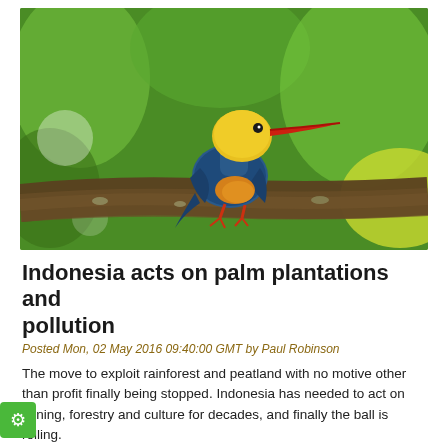[Figure (photo): A kingfisher bird with yellow head, red bill, and blue body perched on a branch, with green bokeh background]
Indonesia acts on palm plantations and pollution
Posted Mon, 02 May 2016 09:40:00 GMT by Paul Robinson
The move to exploit rainforest and peatland with no motive other than profit finally being stopped. Indonesia has needed to act on mining, forestry and culture for decades, and finally the ball is rolling.